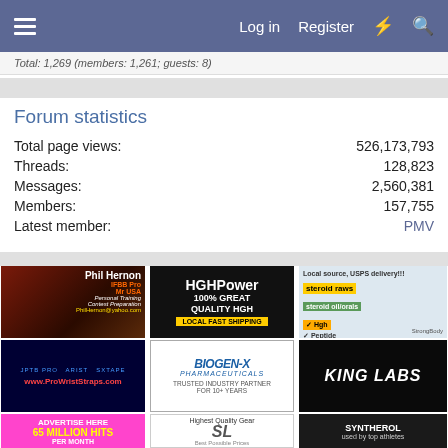Log in  Register
Total: 1,269 (members: 1,261; guests: 8)
Forum statistics
|  |  |
| --- | --- |
| Total page views: | 526,173,793 |
| Threads: | 128,823 |
| Messages: | 2,560,381 |
| Members: | 157,755 |
| Latest member: | PMV |
[Figure (advertisement): Phil Hernon IFBB Pro Mr USA Personal Training Contest Preparation advertisement]
[Figure (advertisement): HGHPower 100% GREAT QUALITY HGH LOCAL FAST SHIPPING advertisement]
[Figure (advertisement): Local source USPS delivery steroid raws steroid oil/orals Hgh Peptide StrongBody advertisement]
[Figure (advertisement): JPTB PRO ProWristStraps.com advertisement]
[Figure (advertisement): BIOGEN-X PHARMACEUTICALS TRUSTED INDUSTRY PARTNER FOR 10+ YEARS advertisement]
[Figure (advertisement): KING LABS advertisement]
[Figure (advertisement): ADVERTISE HERE 65 MILLION HITS advertisement]
[Figure (advertisement): Highest Quality Gear Best Possible Prices SL advertisement]
[Figure (advertisement): SYNTHEROL used by top athletes advertisement]